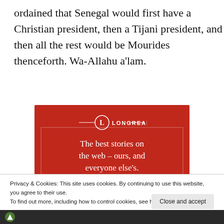ordained that Senegal would first have a Christian president, then a Tijani president, and then all the rest would be Mourides thenceforth. Wa-Allahu a'lam.
[Figure (other): Longreads advertisement banner with red background, Longreads logo (circle with L), tagline 'The best stories on the web – ours, and everyone else's.' and a 'Start reading' button]
Privacy & Cookies: This site uses cookies. By continuing to use this website, you agree to their use.
To find out more, including how to control cookies, see here: Cookie Policy
Close and accept